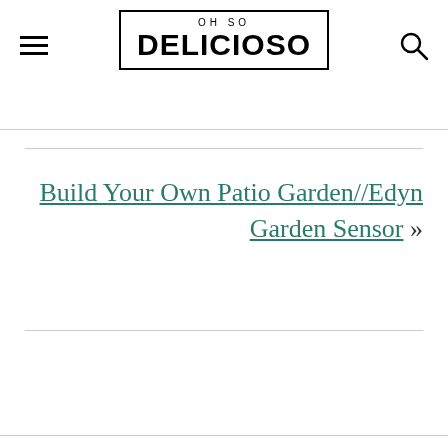OH SO DELICIOSO
Build Your Own Patio Garden//Edyn Garden Sensor »